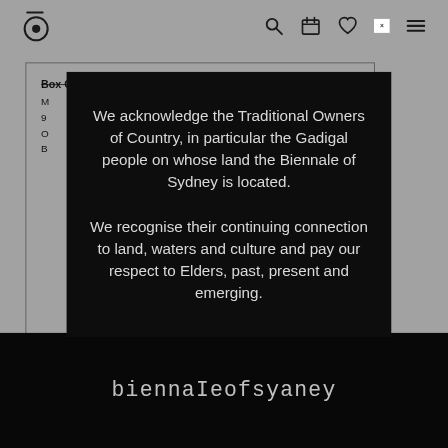[Figure (screenshot): Website header navigation bar with eye/logo icon on left and search, calendar, heart, close (x) and menu icons on right, on grey background]
Box Office Opening Hours
We acknowledge the Traditional Owners of Country, in particular the Gadigal people on whose land the Biennale of Sydney is located.

We recognise their continuing connection to land, waters and culture and pay our respect to Elders, past, present and emerging.
[Figure (logo): Biennale of Sydney logo text at bottom: biennaeofsyaney in grey/white text on black background]